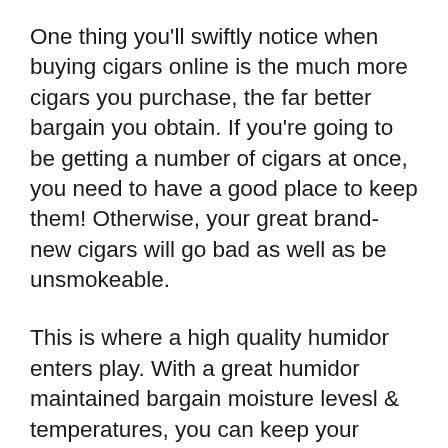One thing you'll swiftly notice when buying cigars online is the much more cigars you purchase, the far better bargain you obtain. If you're going to be getting a number of cigars at once, you need to have a good place to keep them! Otherwise, your great brand-new cigars will go bad as well as be unsmokeable.
This is where a high quality humidor enters play. With a great humidor maintained bargain moisture levesl & temperatures, you can keep your cigars in ideal smoking problem for several years if you want!
Depending upon your budget plan, you can obtain a big, beautiful wooden humidor similar to this Countertop Display Humidor